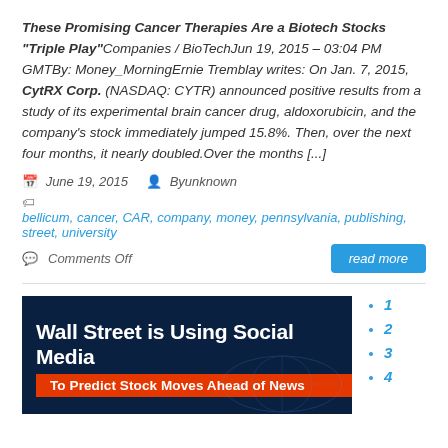These Promising Cancer Therapies Are a Biotech Stocks "Triple Play"Companies / BioTechJun 19, 2015 – 03:04 PM GMTBy: Money_MorningErnie Tremblay writes: On Jan. 7, 2015, CytRX Corp. (NASDAQ: CYTR) announced positive results from a study of its experimental brain cancer drug, aldoxorubicin, and the company's stock immediately jumped 15.8%. Then, over the next four months, it nearly doubled.Over the months [...]
June 19, 2015  Byunknown
bellicum, cancer, CAR, company, money, pennsylvania, publishing, street, university
Comments Off
[Figure (screenshot): Thumbnail image with dark blue background showing text 'Wall Street is Using Social Media To Predict Stock Moves Ahead of News' with an orange-red banner for the subtitle, and a faint globe graphic.]
1
2
3
4